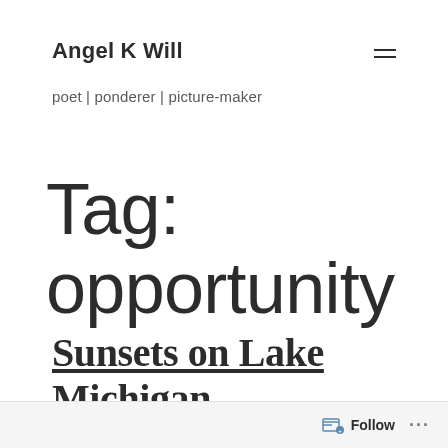Angel K Will
poet | ponderer | picture-maker
Tag: opportunity
Sunsets on Lake Michigan